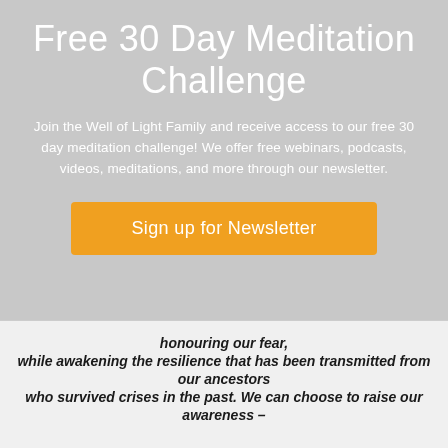Free 30 Day Meditation Challenge
Join the Well of Light Family and receive access to our free 30 day meditation challenge! We offer free webinars, podcasts, videos, meditations, and more through our newsletter.
Sign up for Newsletter
honouring our fear,
while awakening the resilience that has been transmitted from our ancestors
who survived crises in the past. We can choose to raise our awareness –